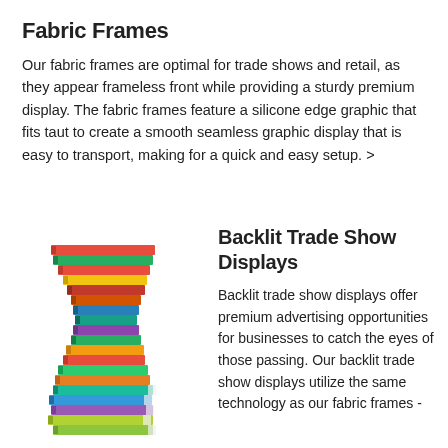Fabric Frames
Our fabric frames are optimal for trade shows and retail, as they appear frameless front while providing a sturdy premium display. The fabric frames feature a silicone edge graphic that fits taut to create a smooth seamless graphic display that is easy to transport, making for a quick and easy setup. >
[Figure (photo): Stack of colorful books with spines showing various bright colors, arranged in a twisted tower formation]
Backlit Trade Show Displays
Backlit trade show displays offer premium advertising opportunities for businesses to catch the eyes of those passing. Our backlit trade show displays utilize the same technology as our fabric frames -